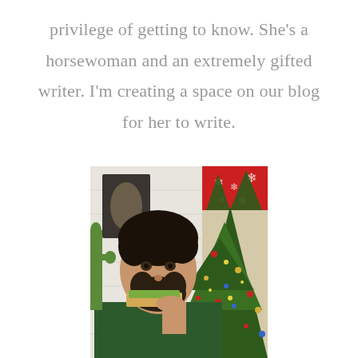privilege of getting to know. She's a horsewoman and an extremely gifted writer. I'm creating a space on our blog for her to write.
[Figure (photo): A young man with curly dark hair and a beard, wearing a dark green sweatshirt, eating a piece of toast with avocado. In the background there is a decorated Christmas tree with red ornaments and stockings.]